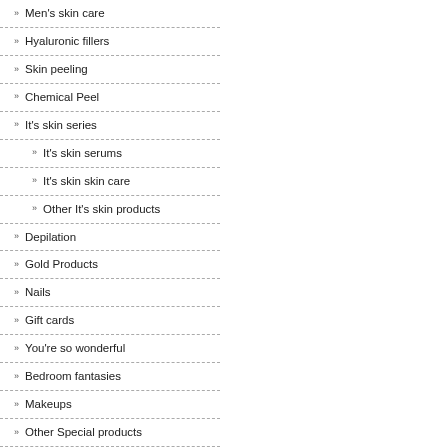Men's skin care
Hyaluronic fillers
Skin peeling
Chemical Peel
It's skin series
It's skin serums
It's skin skin care
Other It's skin products
Depilation
Gold Products
Nails
Gift cards
You're so wonderful
Bedroom fantasies
Makeups
Other Special products
Eyelash extensions
Brushes & make up accessories